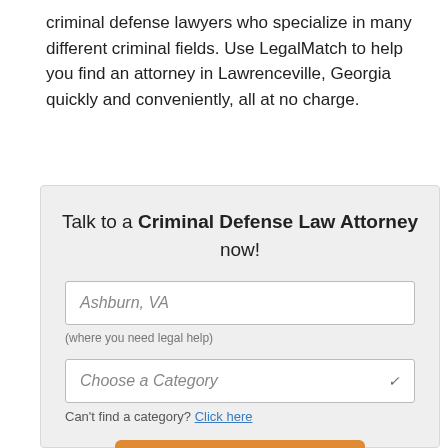criminal defense lawyers who specialize in many different criminal fields. Use LegalMatch to help you find an attorney in Lawrenceville, Georgia quickly and conveniently, all at no charge.
Talk to a Criminal Defense Law Attorney now!
Ashburn, VA
(where you need legal help)
Choose a Category
Can't find a category? Click here
Find My Lawyer!